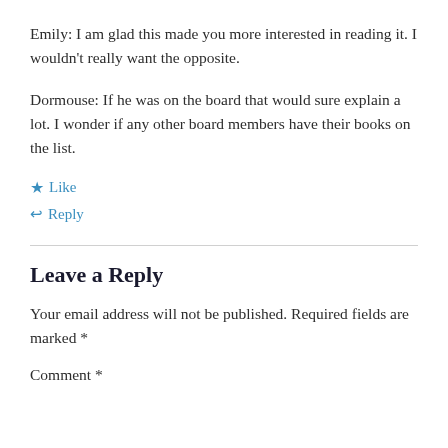Emily: I am glad this made you more interested in reading it. I wouldn't really want the opposite.
Dormouse: If he was on the board that would sure explain a lot. I wonder if any other board members have their books on the list.
★ Like
↩ Reply
Leave a Reply
Your email address will not be published. Required fields are marked *
Comment *